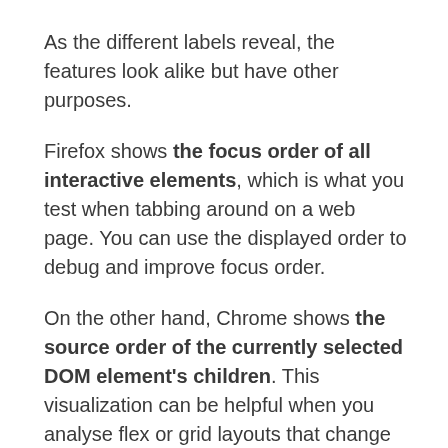As the different labels reveal, the features look alike but have other purposes.
Firefox shows the focus order of all interactive elements, which is what you test when tabbing around on a web page. You can use the displayed order to debug and improve focus order.
On the other hand, Chrome shows the source order of the currently selected DOM element's children. This visualization can be helpful when you analyse flex or grid layouts that change the visual elements order.